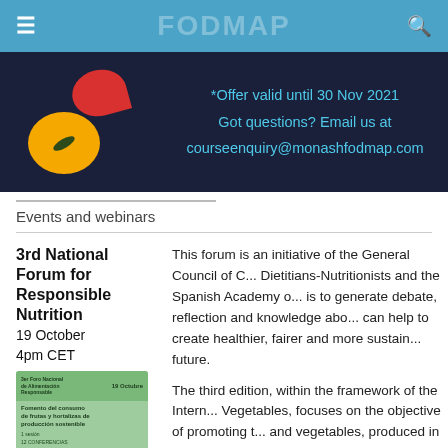≡  FODMAP  🔍
[Figure (illustration): Dark navy banner with abstract fruit/vegetable shapes (red and yellow) on the left, and cyan text on the right reading: *Offer valid until 30 Nov 2021 / Got questions? Email us at / courseenquiry@monashfodmap.com]
Events and webinars
3rd National Forum for Responsible Nutrition
19 October
4pm CET
[Figure (illustration): Thumbnail image of a green event poster for '3er Foro Nacional de Alimentación Responsable, 19 Octubre – Fomento del consumo de frutas y hortalizas de producción sostenible']
This forum is an initiative of the General Council of Dietitians-Nutritionists and the Spanish Academy o... is to generate debate, reflection and knowledge abo... can help to create healthier, fairer and more sustain... future.

The third edition, within the framework of the Intern... Vegetables, focuses on the objective of promoting t... and vegetables, produced in a sustainable wa... people.

Access 12 lectures by experts, with the chance to as...